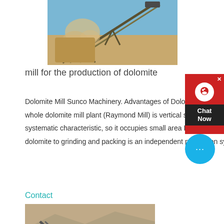[Figure (photo): Industrial conveyor belt with dust cloud against blue sky, carrying crushed stone material at a mining or quarrying site.]
mill for the production of dolomite
Dolomite Mill Sunco Machinery. Advantages of Dolomite Mill : 1 The whole dolomite mill plant (Raymond Mill) is vertical structure of strong systematic characteristic, so it occupies small area From crushing of dolomite to grinding and packing is an independent production system 2
Contact
[Figure (photo): Mobile jaw crusher or rock crushing equipment at an open-pit mining quarry site, white/grey machinery on rocky terrain.]